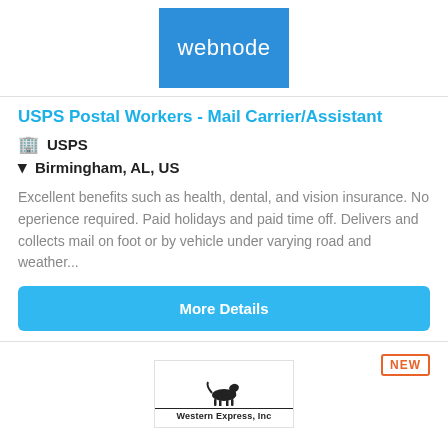[Figure (logo): Webnode blue square logo with white text 'webnode']
USPS Postal Workers - Mail Carrier/Assistant
🏢 USPS
📍 Birmingham, AL, US
Excellent benefits such as health, dental, and vision insurance. No eperience required. Paid holidays and paid time off. Delivers and collects mail on foot or by vehicle under varying road and weather...
More Details
[Figure (logo): Western Express Inc logo with horse silhouette and company name]
NEW